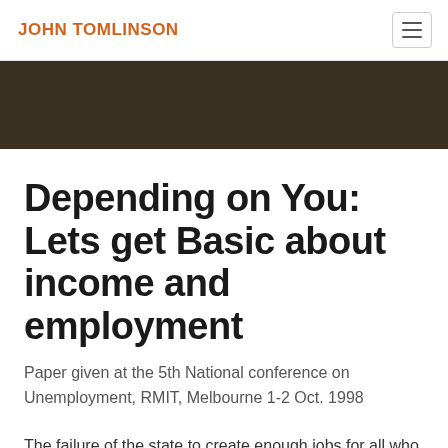JOHN TOMLINSON
[Figure (other): Dark brown/olive hero banner image strip]
Depending on You: Lets get Basic about income and employment
Paper given at the 5th National conference on Unemployment, RMIT, Melbourne 1-2 Oct. 1998
The failure of the state to create enough jobs for all who